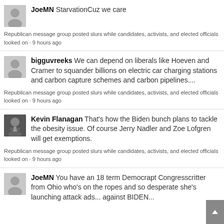JoeMN StarvationCuz we care
Republican message group posted slurs while candidates, activists, and elected officials looked on · 9 hours ago
bigguvreeks We can depend on liberals like Hoeven and Cramer to squander billions on electric car charging stations and carbon capture schemes and carbon pipelines....
Republican message group posted slurs while candidates, activists, and elected officials looked on · 9 hours ago
Kevin Flanagan That's how the Biden bunch plans to tackle the obesity issue. Of course Jerry Nadler and Zoe Lofgren will get exemptions.
Republican message group posted slurs while candidates, activists, and elected officials looked on · 9 hours ago
JoeMN You have an 18 term Democrapt Congresscritter from Ohio who's on the ropes and so desperate she's launching attack ads... against BIDEN...